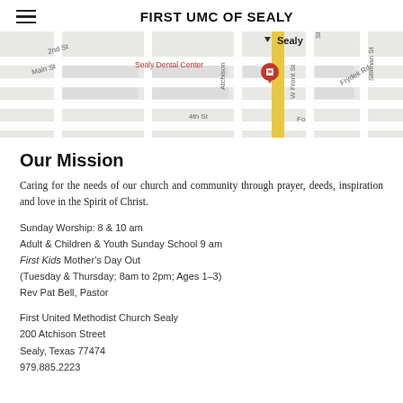FIRST UMC OF SEALY
[Figure (map): Google Maps view of Sealy, TX showing Sealy Dental Center, 2nd St, Main St, 4th St, Atchison, W Front St, Frydek Rd, Silliman St streets, with a red location pin marker and a yellow road.]
Our Mission
Caring for the needs of our church and community through prayer, deeds, inspiration and love in the Spirit of Christ.
Sunday Worship: 8 & 10 am
Adult & Children & Youth Sunday School 9 am
First Kids Mother's Day Out
(Tuesday & Thursday; 8am to 2pm; Ages 1–3)
Rev Pat Bell, Pastor
First United Methodist Church Sealy
200 Atchison Street
Sealy, Texas 77474
979.885.2223